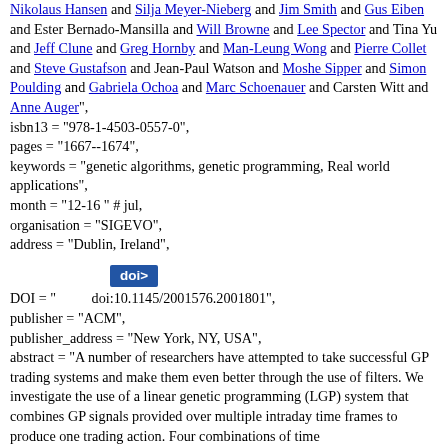Nikolaus Hansen and Silja Meyer-Nieberg and Jim Smith and Gus Eiben and Ester Bernado-Mansilla and Will Browne and Lee Spector and Tina Yu and Jeff Clune and Greg Hornby and Man-Leung Wong and Pierre Collet and Steve Gustafson and Jean-Paul Watson and Moshe Sipper and Simon Poulding and Gabriela Ochoa and Marc Schoenauer and Carsten Witt and Anne Auger", isbn13 = "978-1-4503-0557-0", pages = "1667--1674", keywords = "genetic algorithms, genetic programming, Real world applications", month = "12-16 " # jul, organisation = "SIGEVO", address = "Dublin, Ireland",
[Figure (other): Blue button labeled 'doi>']
DOI = "   doi:10.1145/2001576.2001801", publisher = "ACM", publisher_address = "New York, NY, USA", abstract = "A number of researchers have attempted to take successful GP trading systems and make them even better through the use of filters. We investigate the use of a linear genetic programming (LGP) system that combines GP signals provided over multiple intraday time frames to produce one trading action. Four combinations of time